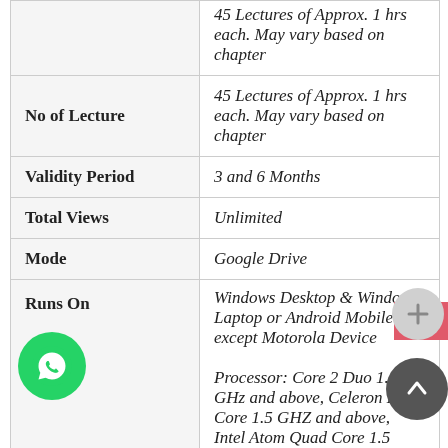|  |  |
| --- | --- |
| No of Lecture | 45 Lectures of Approx. 1 hrs each. May vary based on chapter |
| Validity Period | 3 and 6 Months |
| Total Views | Unlimited |
| Mode | Google Drive |
| Runs On | Windows Desktop & Windows Laptop or Android Mobile except Motorola Device |
|  | Processor: Core 2 Duo 1.5 GHz and above, Celeron Dual Core 1.5 GHZ and above, Intel Atom Quad Core 1.5 GHZ and above. (Ram: 1.5 GB free memory)Operating System: Windows 7 Home |